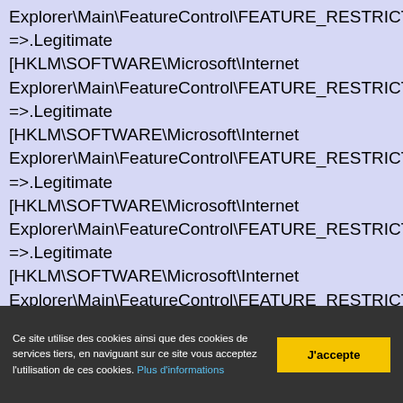Explorer\Main\FeatureControl\FEATURE_RESTRICT_ABOUT_PRO =>.Legitimate [HKLM\SOFTWARE\Microsoft\Internet Explorer\Main\FeatureControl\FEATURE_RESTRICT_ACTIVEXINS =>.Legitimate [HKLM\SOFTWARE\Microsoft\Internet Explorer\Main\FeatureControl\FEATURE_RESTRICT_ACTIVEXINS =>.Legitimate [HKLM\SOFTWARE\Microsoft\Internet Explorer\Main\FeatureControl\FEATURE_RESTRICT_ACTIVEXINS =>.Legitimate [HKLM\SOFTWARE\Microsoft\Internet Explorer\Main\FeatureControl\FEATURE_RESTRICT_ACTIVEXINS =>.Legitimate [HKLM\SOFTWARE\Microsoft\Internet Explorer\Main\FeatureControl\FEATURE_RESTRICT_ACTIVEXINS =>.Legitimate [HKLM\SOFTWARE\Microsoft\Internet Explorer\Main\FeatureControl\FEATURE_RESTRICT_ACTIVEXINS
Ce site utilise des cookies ainsi que des cookies de services tiers, en naviguant sur ce site vous acceptez l'utilisation de ces cookies. Plus d'informations